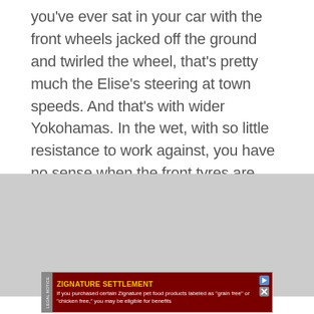you've ever sat in your car with the front wheels jacked off the ground and twirled the wheel, that's pretty much the Elise's steering at town speeds. And that's with wider Yokohamas. In the wet, with so little resistance to work against, you have no sense when the front tyres are slipping wide. And that's not all to watch out for when it's raining…
[Figure (other): Gray placeholder rectangle representing an advertisement or image area]
Advertisement
[Figure (other): Zignature Settlement advertisement banner with dark red background. Title: ZIGNATURE SETTLEMENT in bold yellow. Body text: If you purchased certain Zignature pet food products labeled as 'grain free' or 'chicken free,' you may be eligible for benefits. Left side shows LEGAL NOTICE label vertically. Top right shows play and close icons.]